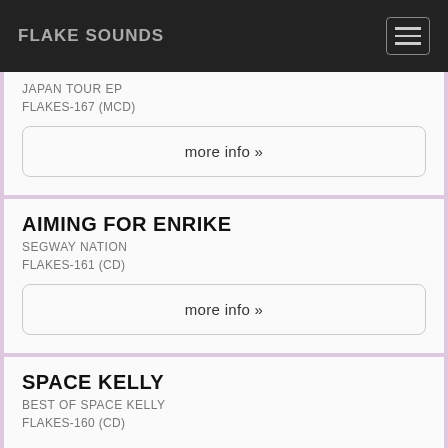FLAKE SOUNDS
JAPAN TOUR EP
FLAKES-167 (MCD)
more info »
AIMING FOR ENRIKE
SEGWAY NATION
FLAKES-161 (CD)
more info »
SPACE KELLY
BEST OF SPACE KELLY
FLAKES-160 (CD)